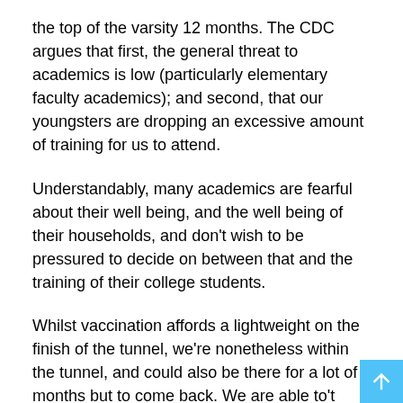the top of the varsity 12 months. The CDC argues that first, the general threat to academics is low (particularly elementary faculty academics); and second, that our youngsters are dropping an excessive amount of training for us to attend.
Understandably, many academics are fearful about their well being, and the well being of their households, and don't wish to be pressured to decide on between that and the training of their college students.
Whilst vaccination affords a lightweight on the finish of the tunnel, we're nonetheless within the tunnel, and could also be there for a lot of months but to come back. We are able to't simply look ahead to every thing to be over to handle the wants of our youngsters; we have to come collectively to care for them. Our youngsters are our future, in spite of everything.